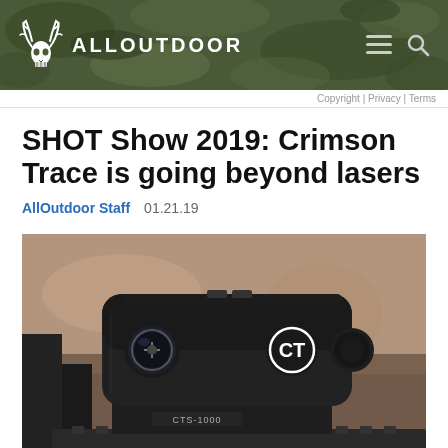ALLOUTDOOR | Copyright | Privacy | Terms
SHOT Show 2019: Crimson Trace is going beyond lasers
AllOutdoor Staff   01.21.19
[Figure (photo): Close-up photo of a Crimson Trace CTS-1000 red dot sight mounted on a rail, showing the CT logo on the side and CTS-1000 label on the mount, with blurred background.]